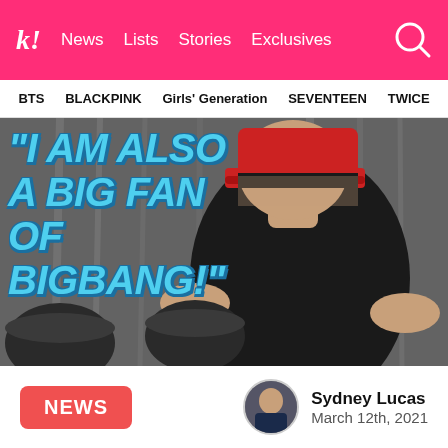k! News Lists Stories Exclusives
BTS  BLACKPINK  Girls' Generation  SEVENTEEN  TWICE
[Figure (photo): Hero image: person in black t-shirt and red cap standing near drums, with text overlay reading: "I AM ALSO A BIG FAN OF BIGBANG!"]
NEWS
Sydney Lucas
March 12th, 2021